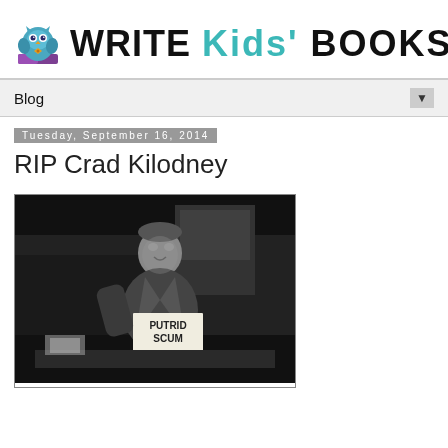[Figure (logo): Write Kids' Books website logo with owl mascot icon and stylized text reading WRITE Kids' BOOKS]
Blog ▼
Tuesday, September 16, 2014
RIP Crad Kilodney
[Figure (photo): Black and white photograph of a man (Crad Kilodney) sitting at what appears to be an outdoor book selling table, wearing a jacket and a sign around his neck reading 'PUTRID SCUM' with what appears to be a price or number below it]